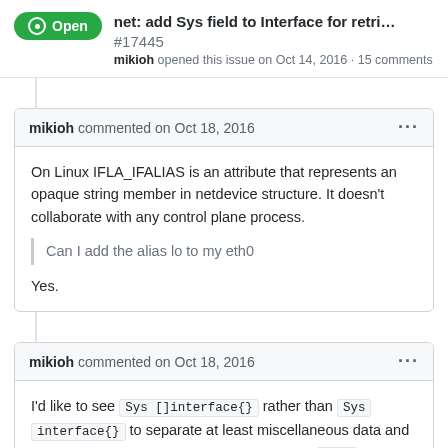net: add Sys field to Interface for retri... #17445
mikioh opened this issue on Oct 14, 2016 · 15 comments
On Linux IFLA_IFALIAS is an attribute that represents an opaque string member in netdevice structure. It doesn't collaborate with any control plane process.

Can I add the alias lo to my eth0

Yes.
I'd like to see Sys []interface{} rather than Sys interface{} to separate at least miscellaneous data and statistical information. On Linux I guess that type